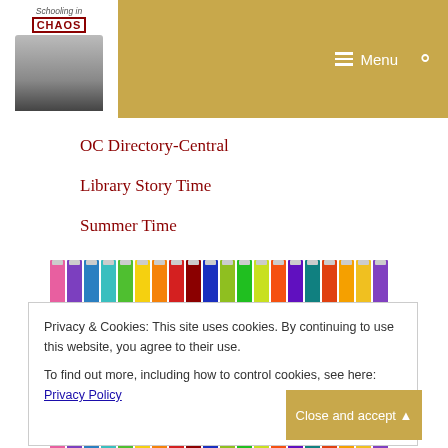[Figure (screenshot): Website header with logo showing 'Schooling in Chaos' branding (woman photo, italic text), gold/tan background, hamburger Menu button and search icon on right]
OC Directory-Central
Library Story Time
Summer Time
[Figure (illustration): Colorful pencils arranged in a row at the top, and cursive/script text reading 'First Day of' below]
Privacy & Cookies: This site uses cookies. By continuing to use this website, you agree to their use.
To find out more, including how to control cookies, see here: Privacy Policy
Close and accept